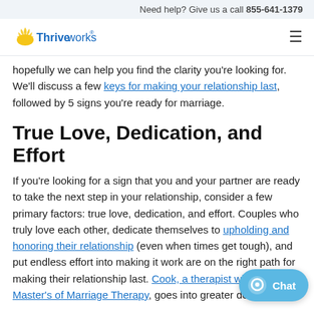Need help? Give us a call 855-641-1379
[Figure (logo): Thriveworks logo with sun/rays icon and blue text]
hopefully we can help you find the clarity you're looking for. We'll discuss a few keys for making your relationship last, followed by 5 signs you're ready for marriage.
True Love, Dedication, and Effort
If you're looking for a sign that you and your partner are ready to take the next step in your relationship, consider a few primary factors: true love, dedication, and effort. Couples who truly love each other, dedicate themselves to upholding and honoring their relationship (even when times get tough), and put endless effort into making it work are on the right path for making their relationship last. Cook, a therapist with a Master's of Marriage Therapy, goes into greater detail: